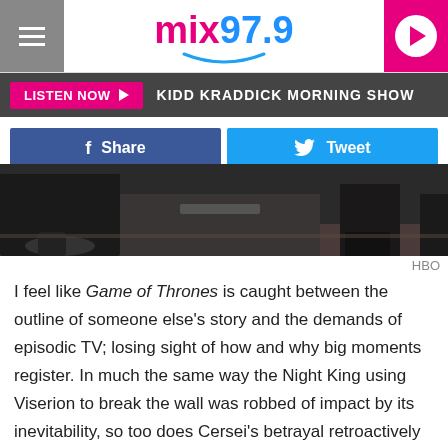mix 97.9 — LISTEN NOW — KIDD KRADDICK MORNING SHOW
[Figure (screenshot): Social share buttons: Facebook Share and Twitter Tweet]
[Figure (photo): Game of Thrones scene — figures in dark robes, legs visible near a bench, outdoor setting]
HBO
I feel like Game of Thrones is caught between the outline of someone else's story and the demands of episodic TV; losing sight of how and why big moments register. In much the same way the Night King using Viserion to break the wall was robbed of impact by its inevitability, so too does Cersei's betrayal retroactively alter the gravity of Lena Headey's performance in earlier scenes. These shocking